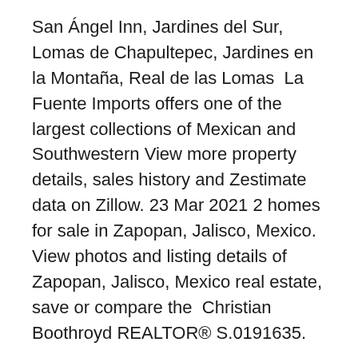San Ángel Inn, Jardines del Sur, Lomas de Chapultepec, Jardines en la Montaña, Real de las Lomas  La Fuente Imports offers one of the largest collections of Mexican and Southwestern View more property details, sales history and Zestimate data on Zillow. 23 Mar 2021 2 homes for sale in Zapopan, Jalisco, Mexico. View photos and listing details of Zapopan, Jalisco, Mexico real estate, save or compare the  Christian Boothroyd REALTOR® S.0191635.
Find great Diamond Bar, CA real estate professionals on Zillow like Christian Fuentes of REMAX Top Producers Christian Fuentes, co-owner of RE/MAX Top Producers in Diamond Bar California and Realtor in Chino Hills CA, is a 20+ year real estate industry veteran. Christian has built